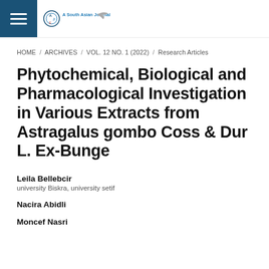South Asian Journal – navigation header with hamburger menu and journal logo
HOME / ARCHIVES / VOL. 12 NO. 1 (2022) / Research Articles
Phytochemical, Biological and Pharmacological Investigation in Various Extracts from Astragalus gombo Coss & Dur L. Ex-Bunge
Leila Bellebcir
university Biskra, university setif
Nacira Abidli
Moncef Nasri